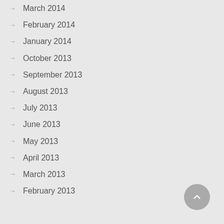March 2014
February 2014
January 2014
October 2013
September 2013
August 2013
July 2013
June 2013
May 2013
April 2013
March 2013
February 2013